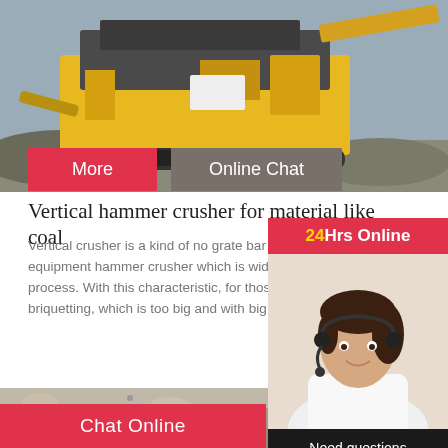[Figure (photo): Yellow heavy-duty mobile crusher machine on tracks, outdoors on gravel/dirt surface]
More
Online Chat
Vertical hammer crusher for material like coal
Vertical crusher is a kind of no grate bar type equipment hammer crusher which is widely u... process. With this characteristic, for those ma... briquetting, which is too big and with big har...
[Figure (photo): Close-up photo of crushed/broken material (rock or coal) on a surface]
[Figure (photo): Customer service representative (woman with headset) for 24Hrs Online chat support]
Need questions & suggestion?
Chat Now
Chat Online